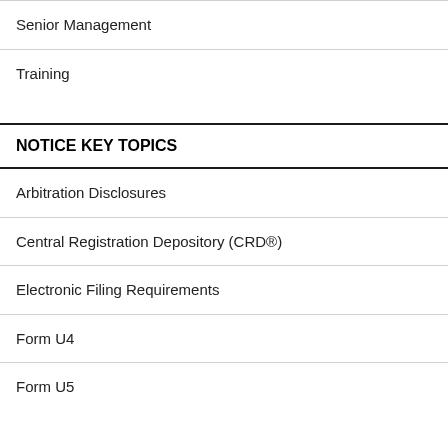Senior Management
Training
NOTICE KEY TOPICS
Arbitration Disclosures
Central Registration Depository (CRD®)
Electronic Filing Requirements
Form U4
Form U5